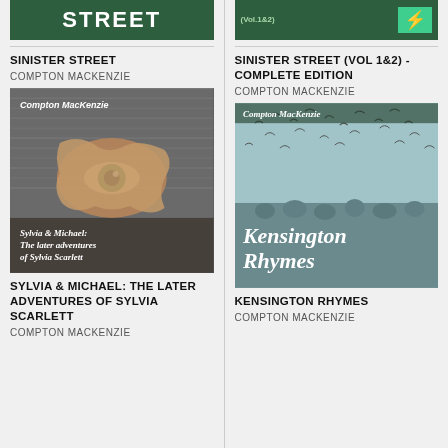[Figure (illustration): Partial book cover for Sinister Street, dark green with white bold text]
SINISTER STREET
COMPTON MACKENZIE
[Figure (illustration): Book cover for Sylvia & Michael: The later adventures of Sylvia Scarlett, showing a torn paper with an eye visible, dark textured background, italic white text at bottom]
SYLVIA & MICHAEL: THE LATER ADVENTURES OF SYLVIA SCARLETT
COMPTON MACKENZIE
[Figure (illustration): Partial book cover for Sinister Street (Vol 1&2), dark green with teal lightning bolt icon]
SINISTER STREET (VOL 1&2) - COMPLETE EDITION
COMPTON MACKENZIE
[Figure (illustration): Book cover for Kensington Rhymes by Compton MacKenzie, showing birds in flight over a crowd, teal-grey tones, italic white title text]
KENSINGTON RHYMES
COMPTON MACKENZIE